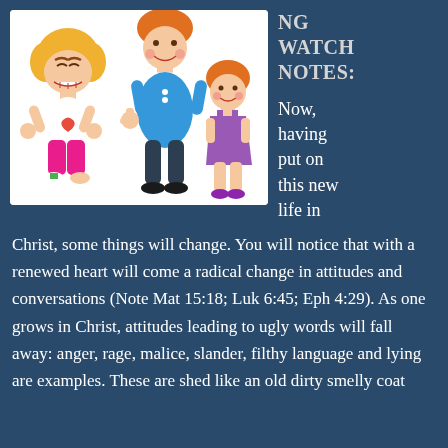[Figure (illustration): Cartoon illustration showing three children: an angry girl on the left with clenched fists wearing pink clothes with a heart, a taller boy in the middle giving thumbs up wearing a blue shirt, and a smaller girl on the right in a purple dress.]
NG WATCH NOTES:
Now, having put on this new life in Christ, some things will change. You will notice that with a renewed heart will come a radical change in attitudes and conversations (Note Mat 15:18; Luk 6:45; Eph 4:29). As one grows in Christ, attitudes leading to ugly words will fall away: anger, rage, malice, slander, filthy language and lying are examples. These are shed like an old dirty smelly coat